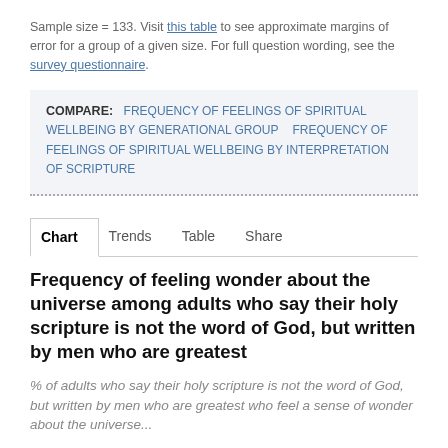Sample size = 133. Visit this table to see approximate margins of error for a group of a given size. For full question wording, see the survey questionnaire.
COMPARE: FREQUENCY OF FEELINGS OF SPIRITUAL WELLBEING BY GENERATIONAL GROUP   FREQUENCY OF FEELINGS OF SPIRITUAL WELLBEING BY INTERPRETATION OF SCRIPTURE
Chart   Trends   Table   Share
Frequency of feeling wonder about the universe among adults who say their holy scripture is not the word of God, but written by men who are greatest
% of adults who say their holy scripture is not the word of God, but written by men who are greatest who feel a sense of wonder about the universe...